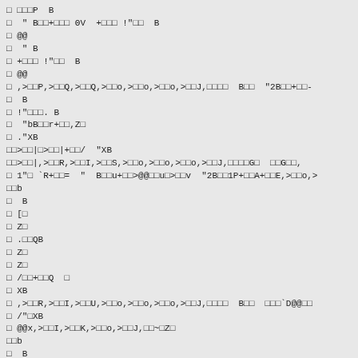□ □□□P  B
□  " B□□+□□□ ΘV  +□□□ !"□□  B
□ @@
□  " B
□ +□□□ !"□□  B
□ @@
□ ,>□□P,>□□Q,>□□Q,>□□o,>□□o,>□□o,>□□J,□□□□  B□□  "2B□□+□□-
□  B
□ !"□□□. B
□  "bB□□r+□□,Z□
□ ."XB
□□>□□|□>□□|+□□/  "XB
□□>□□|,>□□R,>□□I,>□□S,>□□o,>□□o,>□□o,>□□J,□□□□G□  □□G□□,
□ 1"□ `R+□□=  "  B□□u+□□>@@□□u□>□□v  "2B□□1P+□□A+□□E,>□□o,>
□□b
□  B
□ [□
□ Z□
□ .□□QB
□ Z□
□ Z□
□ /□□+□□Q  □
□ XB
□ ,>□□R,>□□I,>□□U,>□□o,>□□o,>□□o,>□□J,□□□□  B□□  □□□`D@@□□
□ /"□XB
□ @@x,>□□I,>□□K,>□□o,>□□J,□□~□Z□
□□b
□  B
□ [□
□ Z□
□ .□□□QB